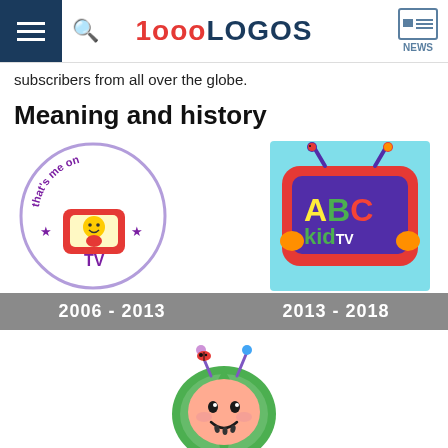1000LOGOS NEWS
subscribers from all over the globe.
Meaning and history
[Figure (logo): That's Me on TV circular logo (2006-2013)]
[Figure (logo): ABC kid TV logo on light blue background (2013-2018)]
[Figure (logo): CoComelon watermelon character logo with CoComelon text (2018-now)]